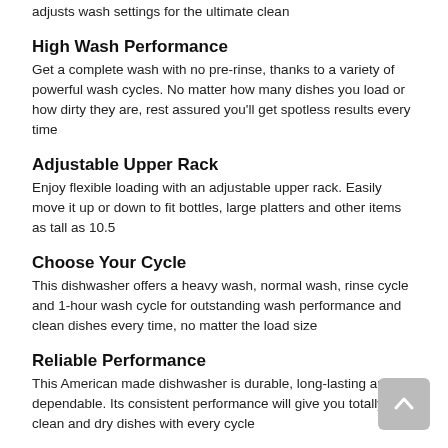adjusts wash settings for the ultimate clean
High Wash Performance
Get a complete wash with no pre-rinse, thanks to a variety of powerful wash cycles. No matter how many dishes you load or how dirty they are, rest assured you'll get spotless results every time
Adjustable Upper Rack
Enjoy flexible loading with an adjustable upper rack. Easily move it up or down to fit bottles, large platters and other items as tall as 10.5
Choose Your Cycle
This dishwasher offers a heavy wash, normal wash, rinse cycle and 1-hour wash cycle for outstanding wash performance and clean dishes every time, no matter the load size
Reliable Performance
This American made dishwasher is durable, long-lasting and dependable. Its consistent performance will give you totally clean and dry dishes with every cycle
Water Leak Sensor
This dishwasher features Active Flood Protect, preventing